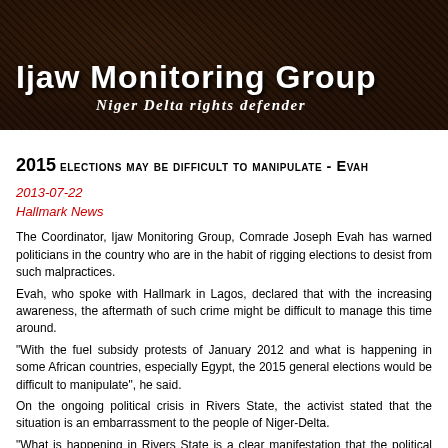Ijaw Monitoring Group
Niger Delta rights defender
2015 ELECTIONS MAY BE DIFFICULT TO MANIPULATE - EVAH
2013-07-22
Hallmark News
The Coordinator, Ijaw Monitoring Group, Comrade Joseph Evah has warned politicians in the country who are in the habit of rigging elections to desist from such malpractices.
Evah, who spoke with Hallmark in Lagos, declared that with the increasing awareness, the aftermath of such crime might be difficult to manage this time around.
"With the fuel subsidy protests of January 2012 and what is happening in some African countries, especially Egypt, the 2015 general elections would be difficult to manipulate", he said.
On the ongoing political crisis in Rivers State, the activist stated that the situation is an embarrassment to the people of Niger-Delta.
"What is happening in Rivers State is a clear manifestation that the political class in the Niger Delta has failed the people".
Evah cannot display their inability from a sitting elected during the ongoing...